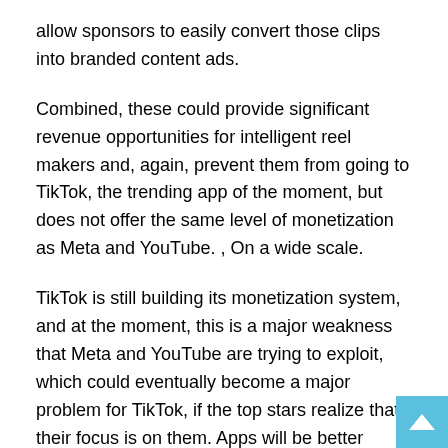allow sponsors to easily convert those clips into branded content ads.
Combined, these could provide significant revenue opportunities for intelligent reel makers and, again, prevent them from going to TikTok, the trending app of the moment, but does not offer the same level of monetization as Meta and YouTube. , On a wide scale.
TikTok is still building its monetization system, and at the moment, this is a major weakness that Meta and YouTube are trying to exploit, which could eventually become a major problem for TikTok, if the top stars realize that their focus is on them. Apps will be better served instead.
That's not to say that TikTok won't make it effective, but in the face of growing challenges and frustration with the